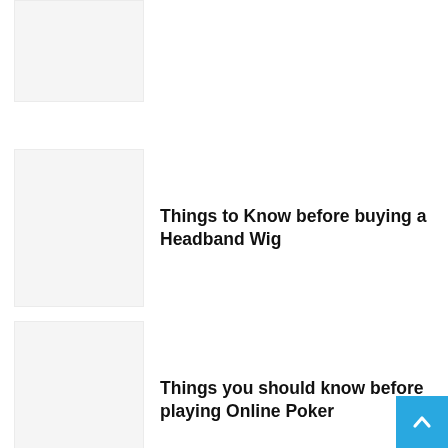[Figure (photo): Thumbnail image placeholder (light gray rectangle), partially visible at top]
Things to Know before buying a Headband Wig
[Figure (photo): Thumbnail image placeholder (light gray rectangle)]
Things you should know before playing Online Poker
[Figure (photo): Thumbnail image placeholder (light gray rectangle)]
5 Secrets to looking great in T-shirts
[Figure (photo): Thumbnail image placeholder (light gray rectangle), partially visible at bottom]
7 Things to know before Visiting